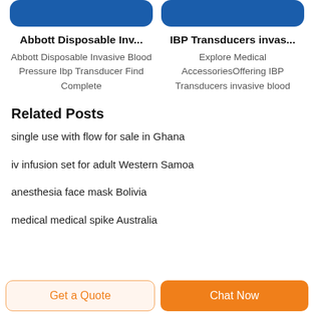Abbott Disposable Inv...
Abbott Disposable Invasive Blood Pressure Ibp Transducer Find Complete
IBP Transducers invas...
Explore Medical AccessoriesOffering IBP Transducers invasive blood
Related Posts
single use with flow for sale in Ghana
iv infusion set for adult Western Samoa
anesthesia face mask Bolivia
medical medical spike Australia
Get a Quote
Chat Now